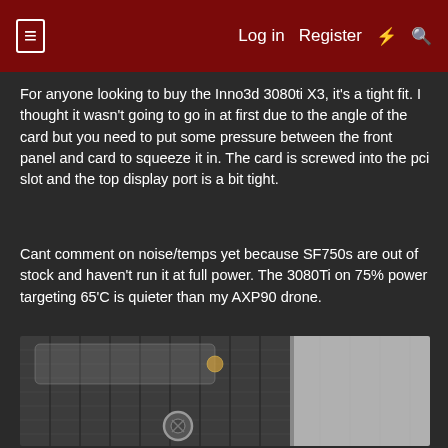≡  Log in  Register  ⚡  🔍
For anyone looking to buy the Inno3d 3080ti X3, it's a tight fit. I thought it wasn't going to go in at first due to the angle of the card but you need to put some pressure between the front panel and card to squeeze it in. The card is screwed into the pci slot and the top display port is a bit tight.
Cant comment on noise/temps yet because SF750s are out of stock and haven't run it at full power. The 3080Ti on 75% power targeting 65'C is quieter than my AXP90 drone.
[Figure (photo): Close-up photo of a GPU bracket/PCIe slot area inside a PC case, showing metallic texture, expansion slot covers, and a screw, with a grey panel on the right side.]